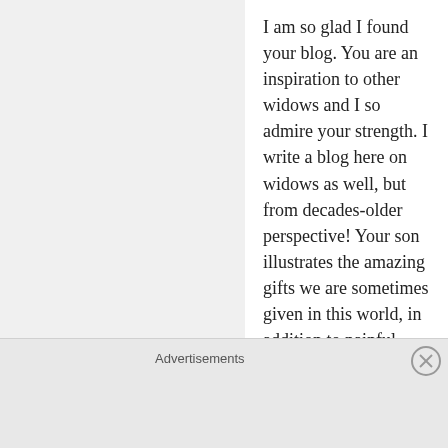I am so glad I found your blog. You are an inspiration to other widows and I so admire your strength. I write a blog here on widows as well, but from decades-older perspective! Your son illustrates the amazing gifts we are sometimes given in this world, in addition to painful losses. My husband died just over a year ago; we married too late in life to consider children.
★ Liked by 1 person
Reply
Advertisements